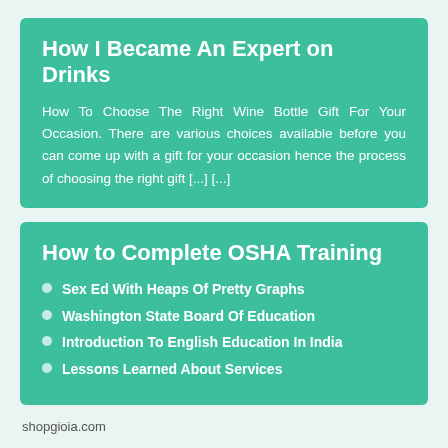How I Became An Expert on Drinks
How To Choose The Right Wine Bottle Gift For Your Occasion. There are various choices available before you can come up with a gift for your occasion hence the process of choosing the right gift [...] [...]
How to Complete OSHA Training
Sex Ed With Heaps Of Pretty Graphs
Washington State Board Of Education
Introduction To English Education In India
Lessons Learned About Services
shopgioia.com